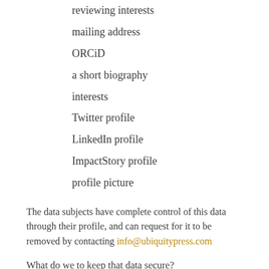reviewing interests
mailing address
ORCiD
a short biography
interests
Twitter profile
LinkedIn profile
ImpactStory profile
profile picture
The data subjects have complete control of this data through their profile, and can request for it to be removed by contacting info@ubiquitypress.com
What do we to keep that data secure?
We regularly backup our databases, and we use reliable cloud